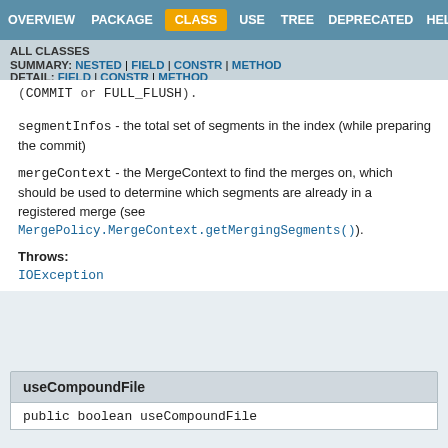OVERVIEW  PACKAGE  CLASS  USE  TREE  DEPRECATED  HELP
ALL CLASSES
SUMMARY: NESTED | FIELD | CONSTR | METHOD
DETAIL: FIELD | CONSTR | METHOD
(COMMIT or FULL_FLUSH).
segmentInfos - the total set of segments in the index (while preparing the commit)
mergeContext - the MergeContext to find the merges on, which should be used to determine which segments are already in a registered merge (see MergePolicy.MergeContext.getMergingSegments()).
Throws:
IOException
useCompoundFile
public boolean useCompoundFile